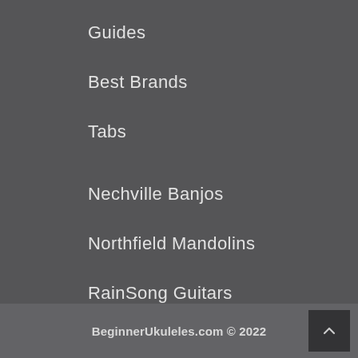Guides
Best Brands
Tabs
Nechville Banjos
Northfield Mandolins
RainSong Guitars
OME Banjos
BeginnerUkuleles.com © 2022